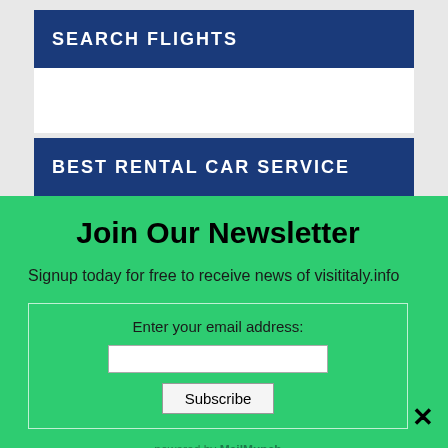SEARCH FLIGHTS
BEST RENTAL CAR SERVICE
Join Our Newsletter
Signup today for free to receive news of visititaly.info
Enter your email address:
Subscribe
powered by MailMunch